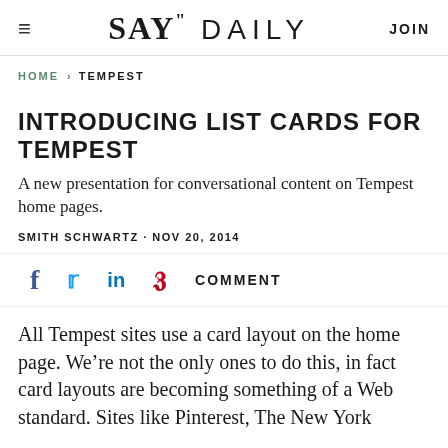SAY" DAILY  JOIN
HOME > TEMPEST
INTRODUCING LIST CARDS FOR TEMPEST
A new presentation for conversational content on Tempest home pages.
SMITH SCHWARTZ · NOV 20, 2014
f  (twitter bird)  in  (pinterest)  COMMENT
All Tempest sites use a card layout on the home page. We're not the only ones to do this, in fact card layouts are becoming something of a Web standard. Sites like Pinterest, The New York